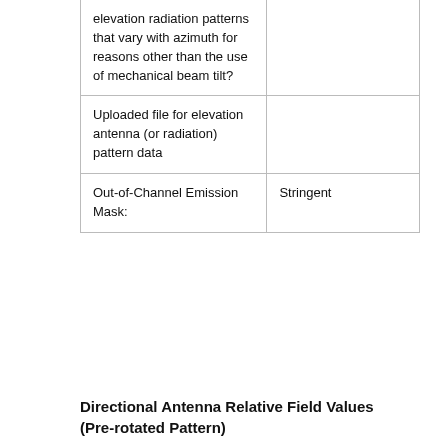|  |  |
| --- | --- |
| elevation radiation patterns that vary with azimuth for reasons other than the use of mechanical beam tilt? |  |
| Uploaded file for elevation antenna (or radiation) pattern data |  |
| Out-of-Channel Emission Mask: | Stringent |
Directional Antenna Relative Field Values (Pre-rotated Pattern)